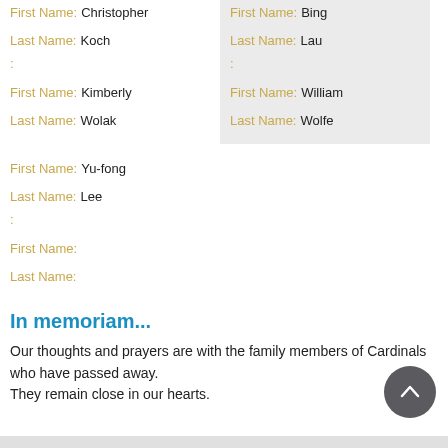First Name: Christopher
Last Name: Koch
:
First Name: Kimberly
Last Name: Wolak
First Name: Yu-fong
Last Name: Lee
:
First Name:
Last Name:
First Name: Bing
Last Name: Lau
:
First Name: William
Last Name: Wolfe
In memoriam...
Our thoughts and prayers are with the family members of Cardinals who have passed away.
They remain close in our hearts.